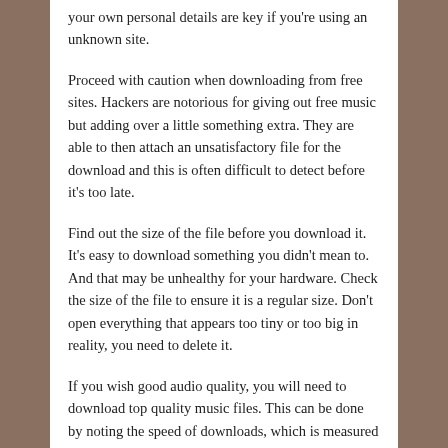your own personal details are key if you're using an unknown site.
Proceed with caution when downloading from free sites. Hackers are notorious for giving out free music but adding over a little something extra. They are able to then attach an unsatisfactory file for the download and this is often difficult to detect before it's too late.
Find out the size of the file before you download it. It's easy to download something you didn't mean to. And that may be unhealthy for your hardware. Check the size of the file to ensure it is a regular size. Don't open everything that appears too tiny or too big in reality, you need to delete it.
If you wish good audio quality, you will need to download top quality music files. This can be done by noting the speed of downloads, which is measured in kilobytes per second. The bigger this number is, the more effective it sounds.